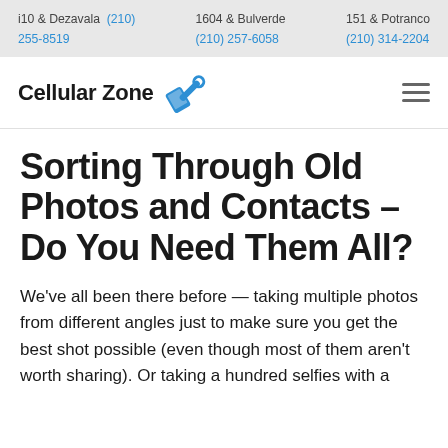i10 & Dezavala (210) 255-8519   1604 & Bulverde (210) 257-6058   151 & Potranco (210) 314-2204
[Figure (logo): Cellular Zone logo with stylized phone and wrench icon in blue, and hamburger menu icon]
Sorting Through Old Photos and Contacts – Do You Need Them All?
We've all been there before — taking multiple photos from different angles just to make sure you get the best shot possible (even though most of them aren't worth sharing). Or taking a hundred selfies with a